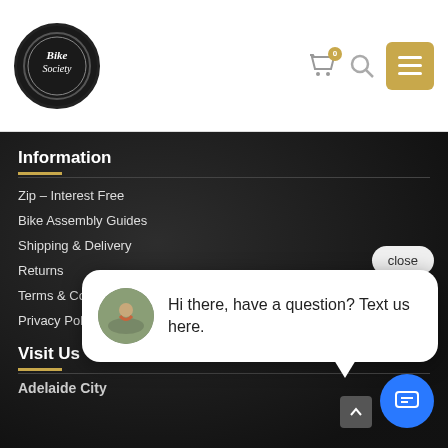[Figure (logo): Bike Society circular logo with white script text on dark background]
Information
Zip – Interest Free
Bike Assembly Guides
Shipping & Delivery
Returns
Terms & Condit…
Privacy Policy
[Figure (screenshot): Chat popup with avatar of cyclist and text: Hi there, have a question? Text us here.]
Visit Us
Adelaide City